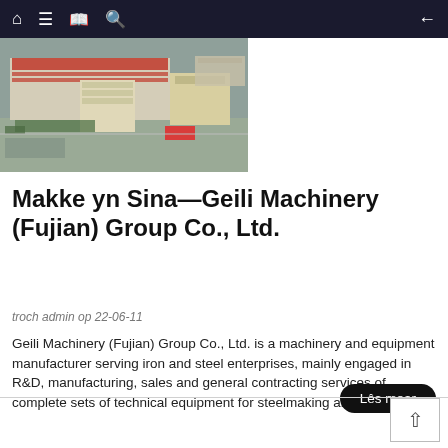Navigation bar with home, menu, bookmark, search icons and back arrow
[Figure (photo): Aerial photograph of Geili Machinery (Fujian) Group Co., Ltd. factory facility showing industrial buildings with red roofs and surrounding infrastructure]
Makke yn Sina—Geili Machinery (Fujian) Group Co., Ltd.
troch admin op 22-06-11
Geili Machinery (Fujian) Group Co., Ltd. is a machinery and equipment manufacturer serving iron and steel enterprises, mainly engaged in R&D, manufacturing, sales and general contracting services of complete sets of technical equipment for steelmaking and steel rolli...
Lês mear